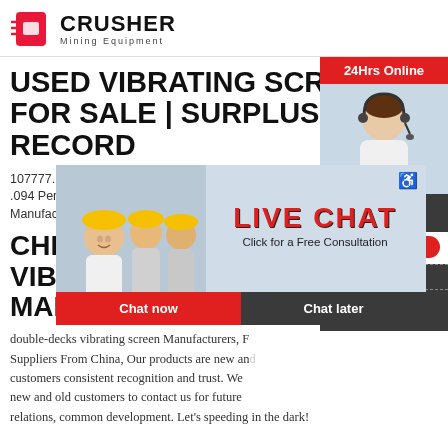CRUSHER Mining Equipment
USED VIBRATING SCREENS FOR SALE | SURPLUS RECORD
107777. On .094 Perfor Manufactur
CHIN... VIBRATING SCREEN MANUFACTURERS AND
[Figure (photo): Live chat popup overlay showing workers in hard hats, LIVE CHAT title in red, 'Click for a Free Consultation' subtitle, Chat now and Chat later buttons, and a customer service agent photo on the right side with 24Hrs Online badge]
double-decks vibrating screen Manufacturers, F... Suppliers From China, Our products are new an... customers consistent recognition and trust. We... new and old customers to contact us for future... relations, common development. Let's speeding in the dark!
[Figure (infographic): Right sidebar with 24Hrs Online badge, customer service agent photo, Need questions & suggestion? section, Chat Now button, Enquiry section, and limingjlmofen@sina.com email]